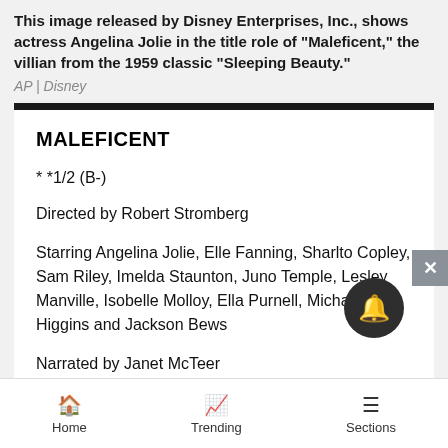This image released by Disney Enterprises, Inc., shows actress Angelina Jolie in the title role of "Maleficent," the villian from the 1959 classic "Sleeping Beauty."
AP | Disney
MALEFICENT
* *1/2 (B-)
Directed by Robert Stromberg
Starring Angelina Jolie, Elle Fanning, Sharlto Copley, Sam Riley, Imelda Staunton, Juno Temple, Lesley Manville, Isobelle Molloy, Ella Purnell, Michael Higgins and Jackson Bews
Narrated by Janet McTeer
Rated PG, Fantasy, 97 minutes
Home | Trending | Sections